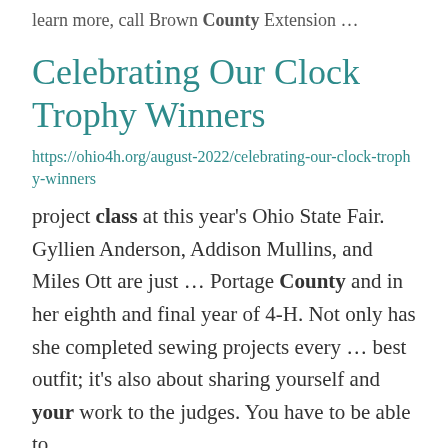learn more, call Brown County Extension …
Celebrating Our Clock Trophy Winners
https://ohio4h.org/august-2022/celebrating-our-clock-trophy-winners
project class at this year's Ohio State Fair. Gyllien Anderson, Addison Mullins, and Miles Ott are just … Portage County and in her eighth and final year of 4-H. Not only has she completed sewing projects every … best outfit; it's also about sharing yourself and your work to the judges. You have to be able to …